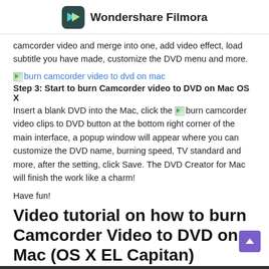Wondershare Filmora
camcorder video and merge into one, add video effect, load subtitle you have made, customize the DVD menu and more.
[Figure (illustration): Small broken image placeholder icon for 'burn camcorder video to dvd on mac' link]
burn camcorder video to dvd on mac (link)
Step 3: Start to burn Camcorder video to DVD on Mac OS X
Insert a blank DVD into the Mac, click the [burn camcorder video clips to DVD] button at the bottom right corner of the main interface, a popup window will appear where you can customize the DVD name, burning speed, TV standard and more, after the setting, click Save. The DVD Creator for Mac will finish the work like a charm!
Have fun!
Video tutorial on how to burn Camcorder Video to DVD on Mac (OS X EL Capitan)